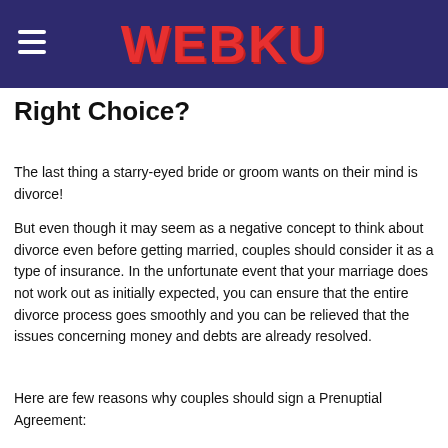WEBKU
Right Choice?
The last thing a starry-eyed bride or groom wants on their mind is divorce!
But even though it may seem as a negative concept to think about divorce even before getting married, couples should consider it as a type of insurance. In the unfortunate event that your marriage does not work out as initially expected, you can ensure that the entire divorce process goes smoothly and you can be relieved that the issues concerning money and debts are already resolved.
Here are few reasons why couples should sign a Prenuptial Agreement: